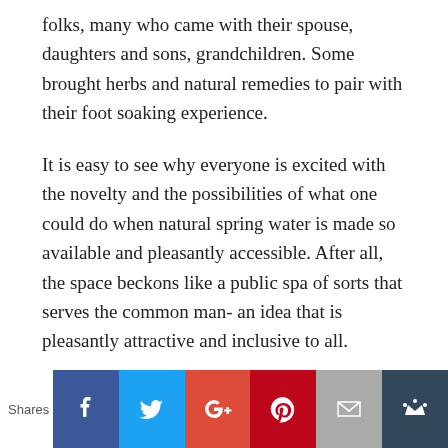folks, many who came with their spouse, daughters and sons, grandchildren. Some brought herbs and natural remedies to pair with their foot soaking experience.
It is easy to see why everyone is excited with the novelty and the possibilities of what one could do when natural spring water is made so available and pleasantly accessible. After all, the space beckons like a public spa of sorts that serves the common man- an idea that is pleasantly attractive and inclusive to all.
Hopefully, we can all do our individual part to preserve and protect the space for communal use in both big and
[Figure (infographic): Social share bar with 'Shares' label and buttons for Facebook, Twitter, Google+, Pinterest, Email, and a crown/bookmark icon]